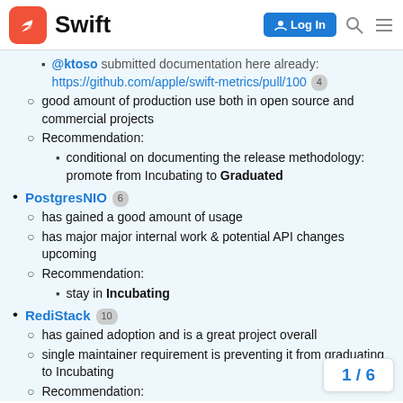Swift  Log In
@ktoso submitted documentation here already: https://github.com/apple/swift-metrics/pull/100  4
good amount of production use both in open source and commercial projects
Recommendation:
conditional on documenting the release methodology: promote from Incubating to Graduated
PostgresNIO  6
has gained a good amount of usage
has major major internal work & potential API changes upcoming
Recommendation:
stay in Incubating
RediStack  10
has gained adoption and is a great project overall
single maintainer requirement is preventing it from graduating to Incubating
Recommendation:
1 / 6